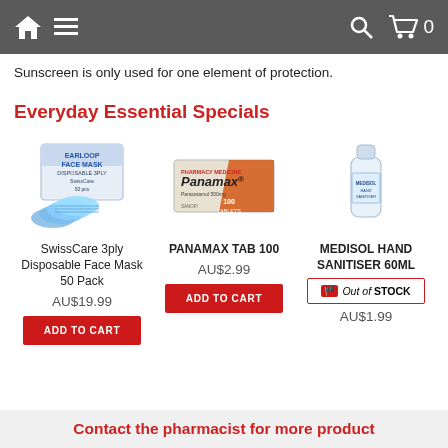Home menu search cart 0
Sunscreen is only used for one element of protection.
Everyday Essential Specials
[Figure (photo): SwissCare 3ply Disposable Face Mask box with blue masks visible in front]
SwissCare 3ply Disposable Face Mask 50 Pack
AU$19.99
ADD TO CART
[Figure (photo): Panamax paracetamol tablet box, white and orange]
PANAMAX TAB 100
AU$2.99
ADD TO CART
[Figure (photo): Medisol hand sanitiser small clear bottle 60ml]
MEDISOL HAND SANITISER 60ML
Out of STOCK
AU$1.99
Contact the pharmacist for more product